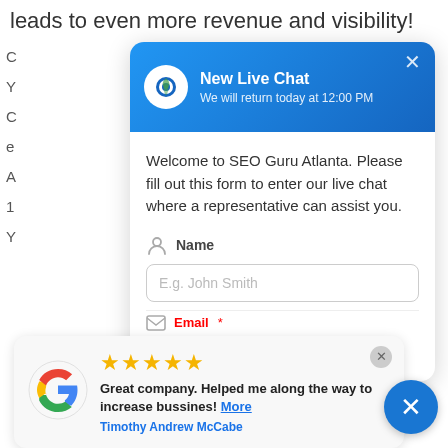leads to even more revenue and visibility!
[Figure (screenshot): Live chat popup modal for SEO Guru Atlanta with blue gradient header, logo, close button, welcome message, Name field with placeholder 'E.g. John Smith', and partial email field. Powered by WooSender branding at bottom.]
[Figure (screenshot): Google review card showing 5 gold stars, review text 'Great company. Helped me along the way to increase bussines! More', reviewer name 'Timothy Andrew McCabe', Google logo, and a blue circular X button.]